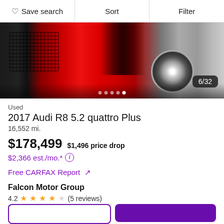♡ Save search  |  Sort  |  Filter
[Figure (photo): Front view of a red sports car (Audi R8) in a showroom/garage setting. Image counter shows 6/32 with navigation dots.]
Used
2017 Audi R8 5.2 quattro Plus
16,552 mi.
$178,499   $1,496 price drop
$2,366 est./mo.*
Free CARFAX Report ↗
Falcon Motor Group
4.2 ★★★★☆ (5 reviews)
7 mi. from 32812